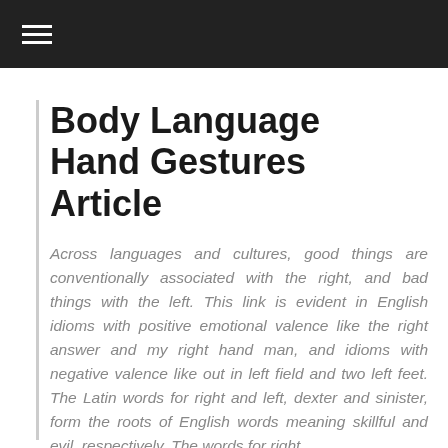≡
Body Language Hand Gestures Article
Across languages and cultures, good things are conventionally associated with the right, and bad things with the left. This link is evident in English idioms with positive emotional valence like the right answer and my right hand man, and idioms with negative valence like out in left field and two left feet. The Latin words for right and left, dexter and sinister, form the roots of English words meaning skillful and evil, respectively. The words for right